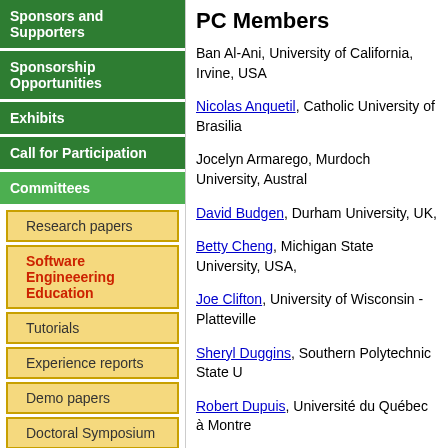Sponsors and Supporters
Sponsorship Opportunities
Exhibits
Call for Participation
Committees
Research papers
Software Engineeering Education
Tutorials
Experience reports
Demo papers
Doctoral Symposium
Workshops
Submissions
Downloads
PC Members
Ban Al-Ani, University of California, Irvine, USA
Nicolas Anquetil, Catholic University of Brasilia
Jocelyn Armarego, Murdoch University, Australia
David Budgen, Durham University, UK,
Betty Cheng, Michigan State University, USA,
Joe Clifton, University of Wisconsin - Platteville
Sheryl Duggins, Southern Polytechnic State University
Robert Dupuis, Université du Québec à Montréal
Sebastian Elbaum, University of Nebraska - Lincoln